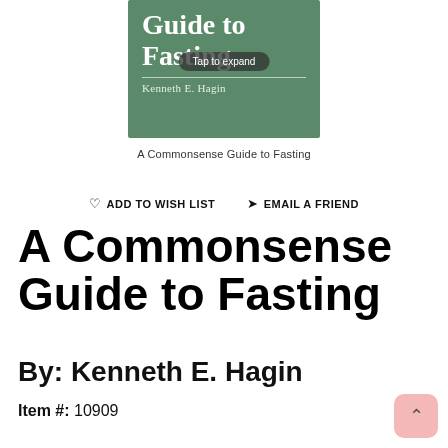[Figure (illustration): Book cover for 'A Commonsense Guide to Fasting' by Kenneth E. Hagin. Green background with white text title 'Guide to Fasting' and author name. A 'Tap to expand' overlay button is shown over the cover image.]
A Commonsense Guide to Fasting
♡ ADD TO WISH LIST   ✉ EMAIL A FRIEND
A Commonsense Guide to Fasting
By: Kenneth E. Hagin
Item #: 10909